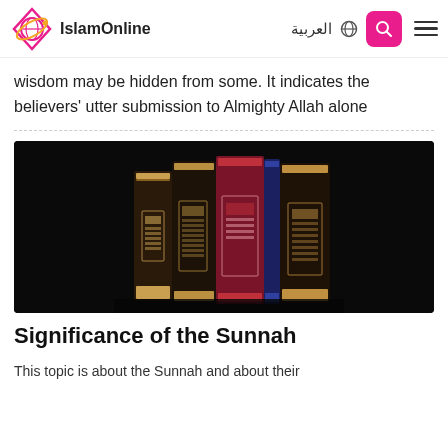IslamOnline | العربية
wisdom may be hidden from some. It indicates the believers' utter submission to Almighty Allah alone
[Figure (photo): A row of Islamic books with ornate spines standing upright against a dark background]
Significance of the Sunnah
This topic is about the Sunnah and about their